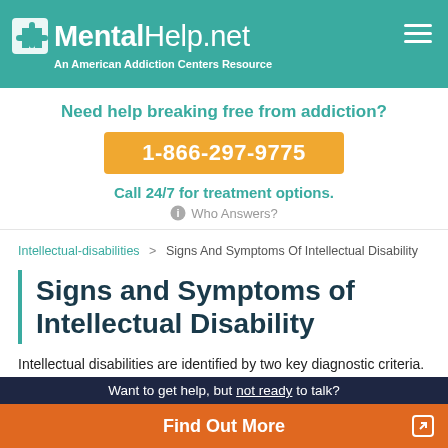MentalHelp.net – An American Addiction Centers Resource
Need help breaking free from addiction?
1-866-297-9775
Call 24/7 for treatment options.
Who Answers?
Intellectual-disabilities > Signs And Symptoms Of Intellectual Disability
Signs and Symptoms of Intellectual Disability
Intellectual disabilities are identified by two key diagnostic criteria. The first criterion is limited mental ability. This is measured by IQ...
Want to get help, but not ready to talk?
Find Out More